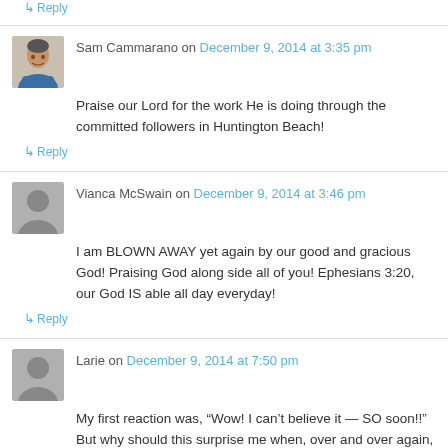↳ Reply
Sam Cammarano on December 9, 2014 at 3:35 pm
Praise our Lord for the work He is doing through the committed followers in Huntington Beach!
↳ Reply
Vianca McSwain on December 9, 2014 at 3:46 pm
I am BLOWN AWAY yet again by our good and gracious God! Praising God along side all of you! Ephesians 3:20, our God IS able all day everyday!
↳ Reply
Larie on December 9, 2014 at 7:50 pm
My first reaction was, "Wow! I can't believe it — SO soon!!" But why should this surprise me when, over and over again, God has blessed us with such amazingly generous provision?!